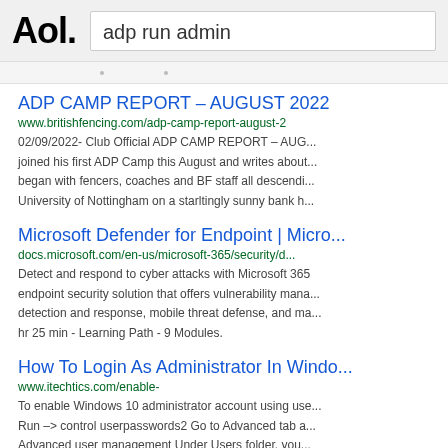Aol.   adp run admin
ADP CAMP REPORT – AUGUST 2022
www.britishfencing.com/adp-camp-report-august-2
02/09/2022- Club Official ADP CAMP REPORT – AUG... joined his first ADP Camp this August and writes about... began with fencers, coaches and BF staff all descendi... University of Nottingham on a starltingly sunny bank h...
Microsoft Defender for Endpoint | Micro...
docs.microsoft.com/en-us/microsoft-365/security/d...
Detect and respond to cyber attacks with Microsoft 365 endpoint security solution that offers vulnerability mana... detection and response, mobile threat defense, and ma... hr 25 min - Learning Path - 9 Modules.
How To Login As Administrator In Windo...
www.itechtics.com/enable-
To enable Windows 10 administrator account using use... Run –> control userpasswords2 Go to Advanced tab a... Advanced user management Under Users folder, you...